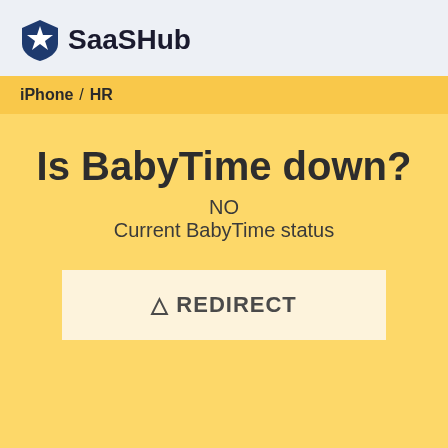SaaSHub
iPhone / HR
Is BabyTime down?
NO
Current BabyTime status
⚠ REDIRECT